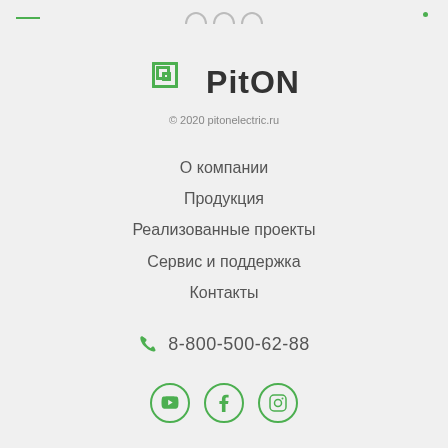[Figure (logo): PitON company logo with green stylized P icon and bold PitON text]
© 2020 pitonelectric.ru
О компании
Продукция
Реализованные проекты
Сервис и поддержка
Контакты
8-800-500-62-88
[Figure (illustration): Three social media icons in green circles: YouTube, Facebook, Instagram]